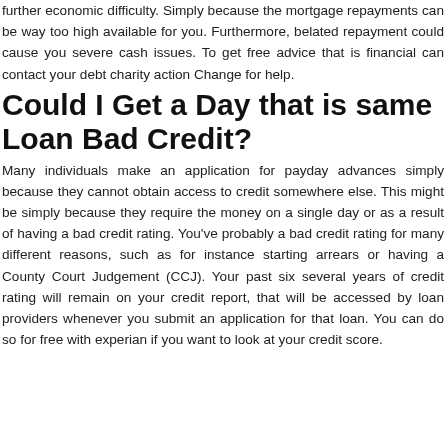further economic difficulty. Simply because the mortgage repayments can be way too high available for you. Furthermore, belated repayment could cause you severe cash issues. To get free advice that is financial can contact your debt charity action Change for help.
Could I Get a Day that is same Loan Bad Credit?
Many individuals make an application for payday advances simply because they cannot obtain access to credit somewhere else. This might be simply because they require the money on a single day or as a result of having a bad credit rating. You've probably a bad credit rating for many different reasons, such as for instance starting arrears or having a County Court Judgement (CCJ). Your past six several years of credit rating will remain on your credit report, that will be accessed by loan providers whenever you submit an application for that loan. You can do so for free with experian if you want to look at your credit score.